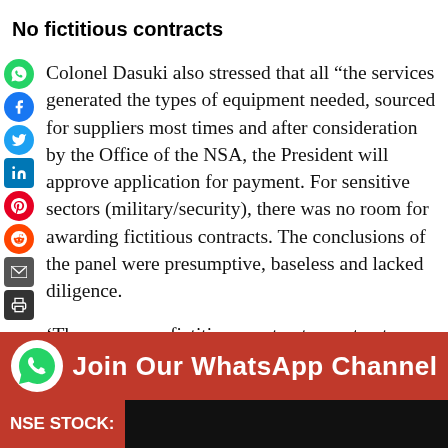No fictitious contracts
Colonel Dasuki also stressed that all “the services generated the types of equipment needed, sourced for suppliers most times and after consideration by the Office of the NSA, the President will approve application for payment. For sensitive sectors (military/security), there was no room for awarding fictitious contracts. The conclusions of the panel were presumptive, baseless and lacked diligence.
‘There were no fictitious contracts; contract sums were not diverted and the relevant services in writing acknowledged delivery of equipment. For all procurement, the Nigerian Army, the Air Force and the
[Figure (infographic): Red banner with WhatsApp logo icon and text: Join Our WhatsApp Channel]
NSE STOCK: